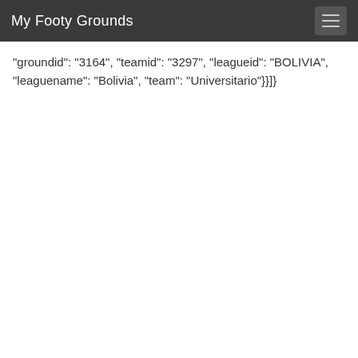My Footy Grounds
"groundid": "3164", "teamid": "3297", "leagueid": "BOLIVIA", "leaguename": "Bolivia", "team": "Universitario"}}]}